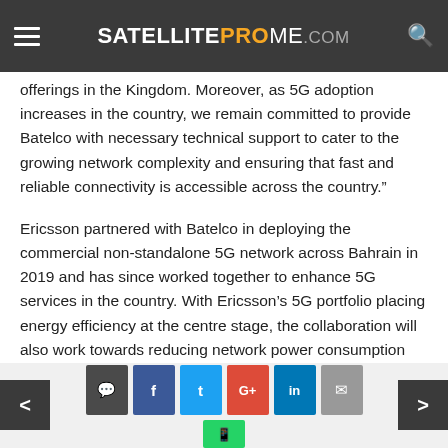SATELLITEPROME.COM
offerings in the Kingdom. Moreover, as 5G adoption increases in the country, we remain committed to provide Batelco with necessary technical support to cater to the growing network complexity and ensuring that fast and reliable connectivity is accessible across the country."
Ericsson partnered with Batelco in deploying the commercial non-standalone 5G network across Bahrain in 2019 and has since worked together to enhance 5G services in the country. With Ericsson’s 5G portfolio placing energy efficiency at the centre stage, the collaboration will also work towards reducing network power consumption and develop solutions for smart and sustainable 5G
< [comment] [facebook] [twitter] [google+] [linkedin] [email] > [whatsapp]